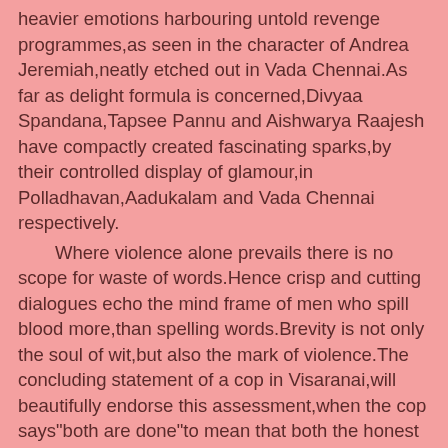heavier emotions harbouring untold revenge programmes,as seen in the character of Andrea Jeremiah,neatly etched out in Vada Chennai.As far as delight formula is concerned,Divyaa Spandana,Tapsee Pannu and Aishwarya Raajesh have compactly created fascinating sparks,by their controlled display of glamour,in Polladhavan,Aadukalam and Vada Chennai respectively.

Where violence alone prevails there is no scope for waste of words.Hence crisp and cutting dialogues echo the mind frame of men who spill blood more,than spelling words.Brevity is not only the soul of wit,but also the mark of violence.The concluding statement of a cop in Visaranai,will beautifully endorse this assessment,when the cop says"both are done"to mean that both the honest police officer and the innocent youth have been done to death.

The goon space has no room for comedy or humour.But at times any character will generate humour through their spontaneous utterances like the ones made by some of the jail mates in Vada Chennai.When one of the prisoners on hearing the news of the